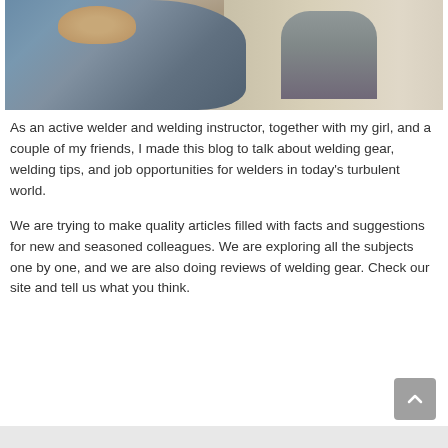[Figure (photo): Photo of a man who appears to be a welder, sitting outdoors in a light blue shirt with another person partially visible in the background. Sandy/dusty outdoor environment.]
As an active welder and welding instructor, together with my girl, and a couple of my friends, I made this blog to talk about welding gear, welding tips, and job opportunities for welders in today's turbulent world.
We are trying to make quality articles filled with facts and suggestions for new and seasoned colleagues. We are exploring all the subjects one by one, and we are also doing reviews of welding gear. Check our site and tell us what you think.